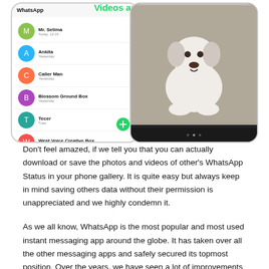[Figure (screenshot): Two smartphone screenshots side by side. Left: WhatsApp chat list interface showing multiple contacts. Center top: 'Videos and Photos' heading in green. Right: A photo of a dog (pug/white dog) displayed on a smartphone screen.]
Don't feel amazed, if we tell you that you can actually download or save the photos and videos of other's WhatsApp Status in your phone gallery. It is quite easy but always keep in mind saving others data without their permission is unappreciated and we highly condemn it.
As we all know, WhatsApp is the most popular and most used instant messaging app around the globe. It has taken over all the other messaging apps and safely secured its topmost position. Over the years, we have seen a lot of improvements as well as new additions and features to the app.